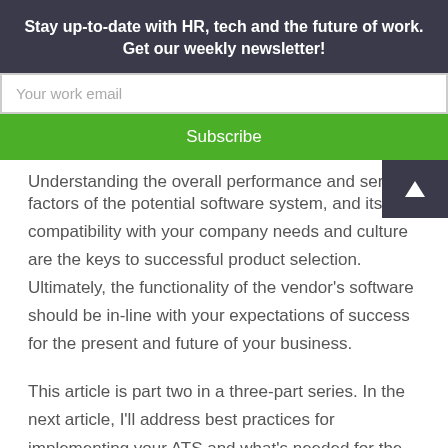Stay up-to-date with HR, tech and the future of work. Get our weekly newsletter!
Your work email
Subscribe
Understanding the overall performance and service factors of the potential software system, and its compatibility with your company needs and culture are the keys to successful product selection. Ultimately, the functionality of the vendor’s software should be in-line with your expectations of success for the present and future of your business.
This article is part two in a three-part series. In the next article, I’ll address best practices for implementing your ATS and what’s needed for the care and maintenance of the new software.